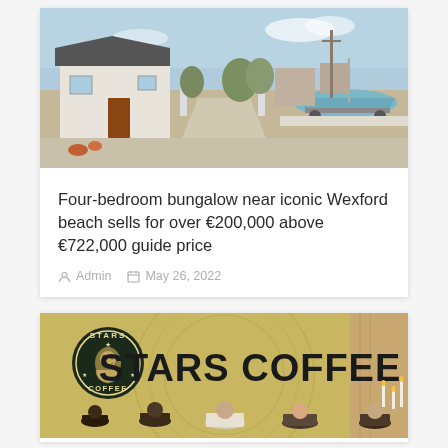[Figure (photo): Exterior view of a bungalow property with gravel driveway, a boat on a trailer visible to the right, and blue sky.]
Four-bedroom bungalow near iconic Wexford beach sells for over €200,000 above €722,000 guide price
Admin   May 26, 2022
[Figure (photo): Stars Coffee shop interior/exterior showing the Stars Coffee logo (similar to Starbucks) and people gathered in front of the counter.]